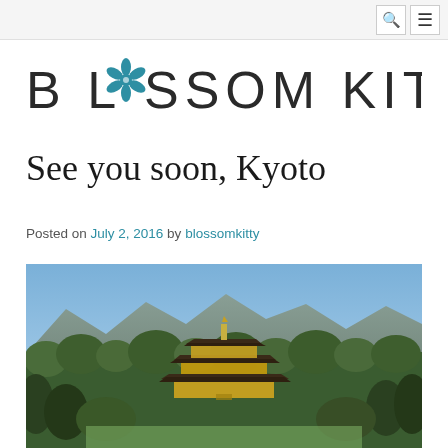[Figure (logo): Blossom Kitty logo with teal flower icon between BL and SSOM KITTY text]
See you soon, Kyoto
Posted on July 2, 2016 by blossomkitty
[Figure (photo): Photo of Kinkaku-ji (Golden Pavilion) temple in Kyoto surrounded by trees with mountains in the background under a blue sky]